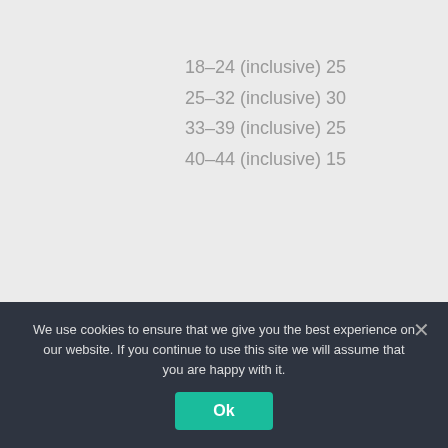18–24 (inclusive) 25
25–32 (inclusive) 30
33–39 (inclusive) 25
40–44 (inclusive) 15
Migrate to
We use cookies to ensure that we give you the best experience on our website. If you continue to use this site we will assume that you are happy with it.